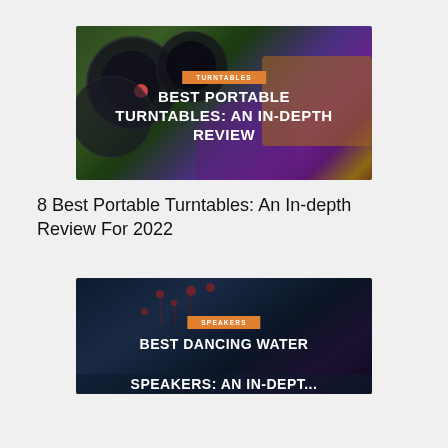[Figure (photo): Blog card image showing vinyl records on grass with a portable turntable, overlaid with orange 'TURNTABLES' badge and bold white title 'BEST PORTABLE TURNTABLES: AN IN-DEPTH REVIEW']
8 Best Portable Turntables: An In-depth Review For 2022
[Figure (photo): Blog card image with dark navy background showing decorative red dot branches/speakers, overlaid with orange 'SPEAKERS' badge and bold white title 'BEST DANCING WATER SPEAKERS: AN IN-DEPTH...' (partially visible)]